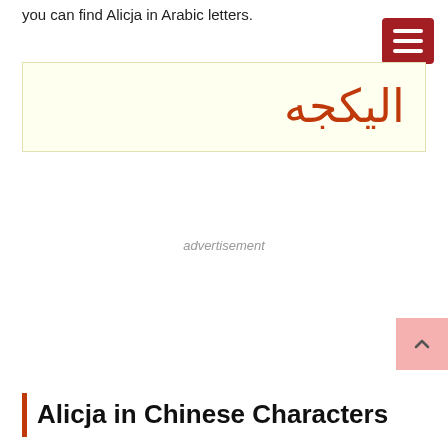you can find Alicja in Arabic letters.
[Figure (other): Arabic script rendering of Alicja in orange/red text on a pale yellow background box. Text reads: اليكجه]
advertisement
Alicja in Chinese Characters